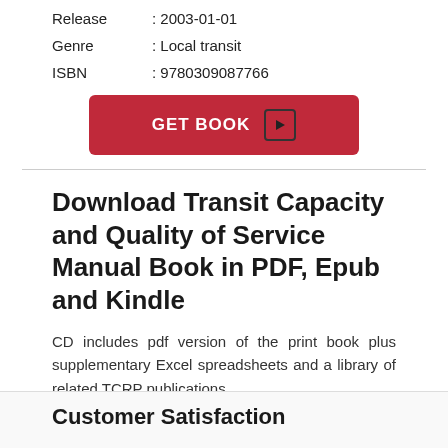Release : 2003-01-01
Genre : Local transit
ISBN : 9780309087766
GET BOOK
Download Transit Capacity and Quality of Service Manual Book in PDF, Epub and Kindle
CD includes pdf version of the print book plus supplementary Excel spreadsheets and a library of related TCRP publications.
Customer Satisfaction